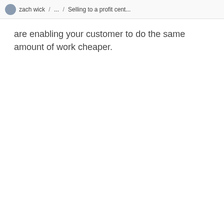zach wick / ... / Selling to a profit cent...
are enabling your customer to do the same amount of work cheaper.